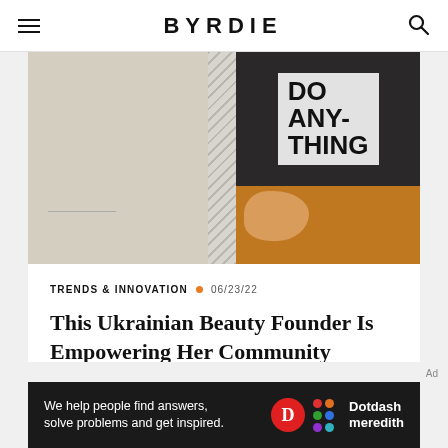BYRDIE
[Figure (photo): Hero image split into beige left panel and dark jacket/shirt photo on right. The shirt reads 'DO ANY- THING'. Orange background on lower right portion.]
TRENDS & INNOVATION  06/23/22
This Ukrainian Beauty Founder Is Empowering Her Community Through Cosmetics
[Figure (other): Advertisement banner: 'We help people find answers, solve problems and get inspired.' with Dotdash Meredith branding.]